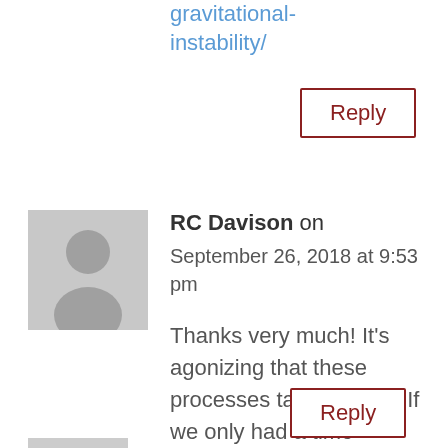gravitational-instability/
Reply
[Figure (illustration): Grey placeholder avatar icon showing a person silhouette]
RC Davison on September 26, 2018 at 9:53 pm
Thanks very much! It's agonizing that these processes take so long. If we only had a time machine! 🙂
Reply